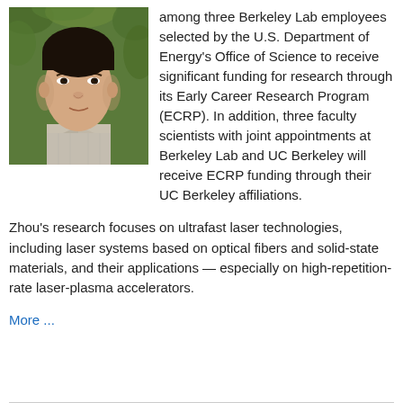[Figure (photo): Headshot of a young Asian man wearing a light plaid shirt, photographed outdoors with green foliage in the background.]
among three Berkeley Lab employees selected by the U.S. Department of Energy's Office of Science to receive significant funding for research through its Early Career Research Program (ECRP). In addition, three faculty scientists with joint appointments at Berkeley Lab and UC Berkeley will receive ECRP funding through their UC Berkeley affiliations.
Zhou's research focuses on ultrafast laser technologies, including laser systems based on optical fibers and solid-state materials, and their applications — especially on high-repetition-rate laser-plasma accelerators.
More ...